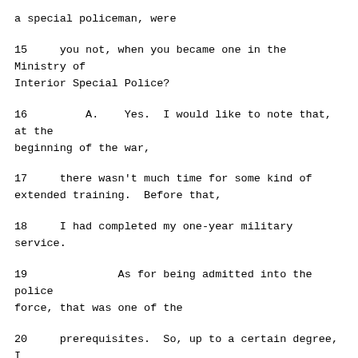a special policeman, were
15    you not, when you became one in the Ministry of Interior Special Police?
16        A.    Yes.  I would like to note that, at the beginning of the war,
17    there wasn't much time for some kind of extended training.  Before that,
18    I had completed my one-year military service.
19             As for being admitted into the police force, that was one of the
20    prerequisites.  So, up to a certain degree, I was prepared to take part
21    in actions.